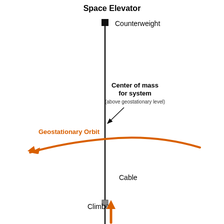[Figure (schematic): Space Elevator diagram showing a vertical cable from Earth up to a counterweight in space. Labels indicate: Counterweight at top, Center of mass for system (above geostationary level) with arrow pointing to cable, Geostationary Orbit shown as orange arc with leftward arrow, Cable label in middle, and Climber at bottom with upward orange arrow.]